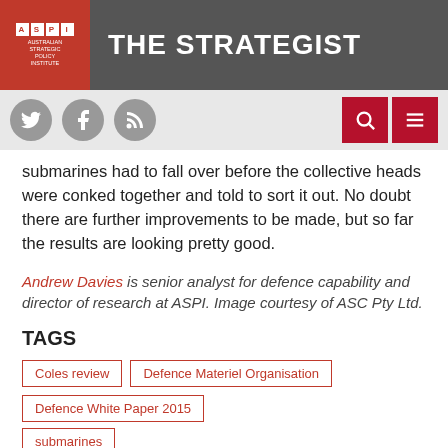THE STRATEGIST
submarines had to fall over before the collective heads were conked together and told to sort it out. No doubt there are further improvements to be made, but so far the results are looking pretty good.
Andrew Davies is senior analyst for defence capability and director of research at ASPI. Image courtesy of ASC Pty Ltd.
TAGS
Coles review
Defence Materiel Organisation
Defence White Paper 2015
submarines
SHARE